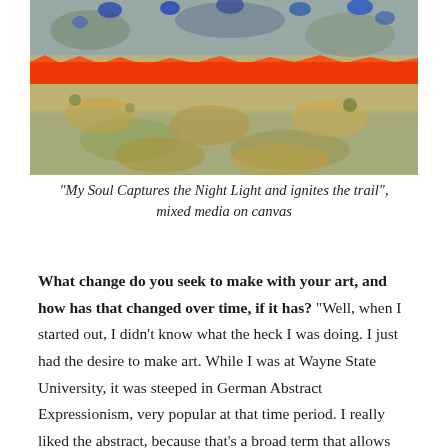[Figure (illustration): Abstract mixed media artwork on canvas showing textured blue and gold tones with a bold red-orange horizontal band across the middle]
“My Soul Captures the Night Light and ignites the trail”, mixed media on canvas
What change do you seek to make with your art, and how has that changed over time, if it has? “Well, when I started out, I didn’t know what the heck I was doing. I just had the desire to make art. While I was at Wayne State University, it was steeped in German Abstract Expressionism, very popular at that time period. I really liked the abstract, because that’s a broad term that allows me to do a lot of different things.